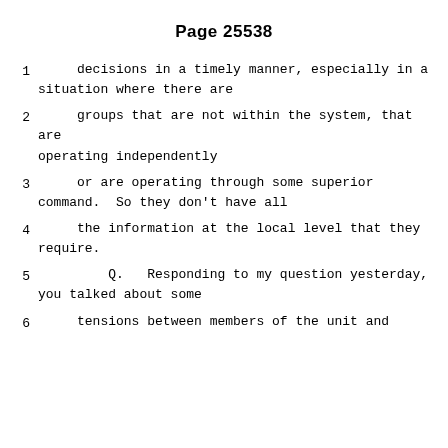Page 25538
1      decisions in a timely manner, especially in a situation where there are
2      groups that are not within the system, that are operating independently
3      or are operating through some superior command.  So they don't have all
4      the information at the local level that they require.
5         Q.   Responding to my question yesterday, you talked about some
6      tensions between members of the unit and